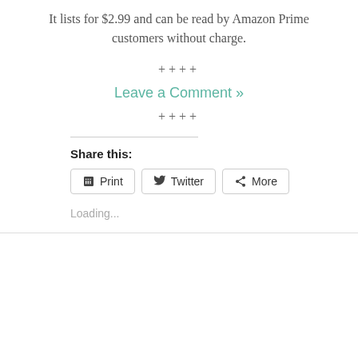It lists for $2.99 and can be read by Amazon Prime customers without charge.
++++
Leave a Comment »
++++
Share this:
Print  Twitter  More
Loading...